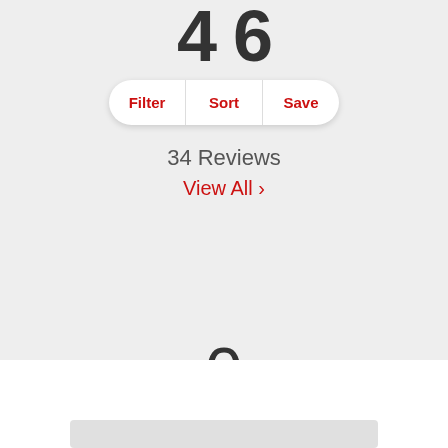4 6
Filter  Sort  Save
34 Reviews
View All >
0
Reviews
[Figure (other): Gray card placeholder at the bottom of the page]